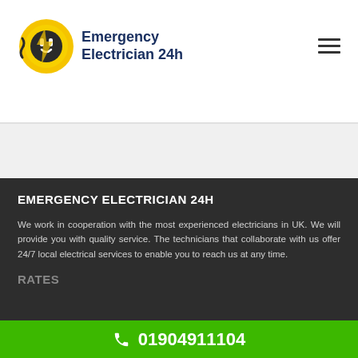[Figure (logo): Emergency Electrician 24h logo with circular plug icon and company name in dark blue]
EMERGENCY ELECTRICIAN 24H
We work in cooperation with the most experienced electricians in UK. We will provide you with quality service. The technicians that collaborate with us offer 24/7 local electrical services to enable you to reach us at any time.
RATES
01904911104